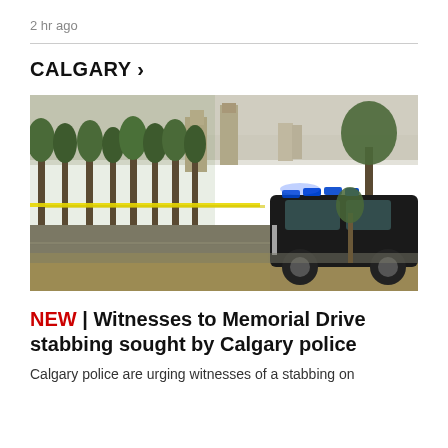2 hr ago
[Figure (photo): A Calgary police SUV with blue lights visible parked on a road near trees with yellow police tape stretched across the scene; city buildings visible in background]
NEW | Witnesses to Memorial Drive stabbing sought by Calgary police
Calgary police are urging witnesses of a stabbing on